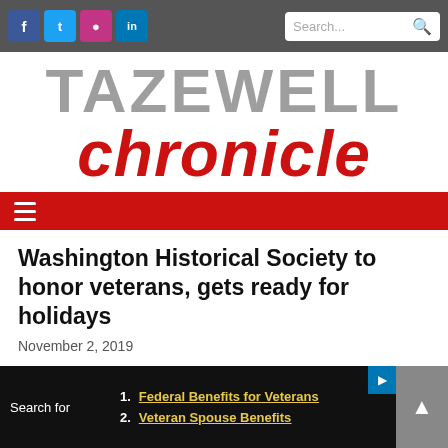Tazewell Chronicle - social icons and search bar
TAZEWELL chronicle
Navigation menu bar
Washington Historical Society to honor veterans, gets ready for holidays
November 2, 2019
1. Federal Benefits for Veterans
2. Veteran Spouse Benefits